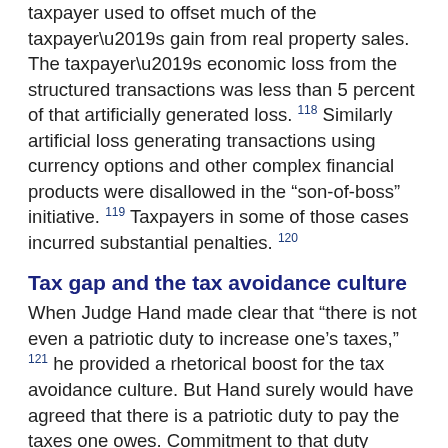taxpayer used to offset much of the taxpayer's gain from real property sales. The taxpayer's economic loss from the structured transactions was less than 5 percent of that artificially generated loss. 118 Similarly artificial loss generating transactions using currency options and other complex financial products were disallowed in the “son-of-boss” initiative. 119 Taxpayers in some of those cases incurred substantial penalties. 120
Tax gap and the tax avoidance culture
When Judge Hand made clear that “there is not even a patriotic duty to increase one’s taxes,” 121 he provided a rhetorical boost for the tax avoidance culture. But Hand surely would have agreed that there is a patriotic duty to pay the taxes one owes. Commitment to that duty seems to be on the wane. There is constant anti-tax noise.